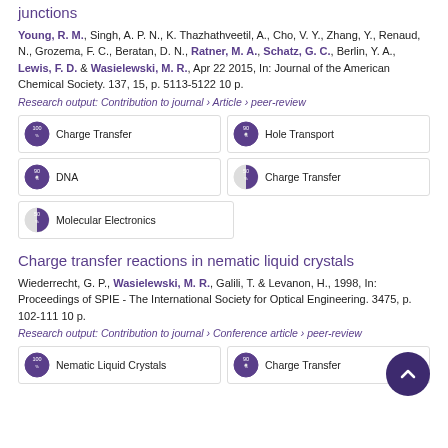junctions
Young, R. M., Singh, A. P. N., K. Thazhathveetil, A., Cho, V. Y., Zhang, Y., Renaud, N., Grozema, F. C., Beratan, D. N., Ratner, M. A., Schatz, G. C., Berlin, Y. A., Lewis, F. D. & Wasielewski, M. R., Apr 22 2015, In: Journal of the American Chemical Society. 137, 15, p. 5113-5122 10 p.
Research output: Contribution to journal › Article › peer-review
[Figure (infographic): Four keyword badges: 100% Charge Transfer, 90% Hole Transport, 90% DNA, 50% Charge Transfer, 50% Molecular Electronics]
Charge transfer reactions in nematic liquid crystals
Wiederrecht, G. P., Wasielewski, M. R., Galili, T. & Levanon, H., 1998, In: Proceedings of SPIE - The International Society for Optical Engineering. 3475, p. 102-111 10 p.
Research output: Contribution to journal › Conference article › peer-review
[Figure (infographic): Partial badges visible: 100% Nematic Liquid Crystals, 90% Charge Transfer]